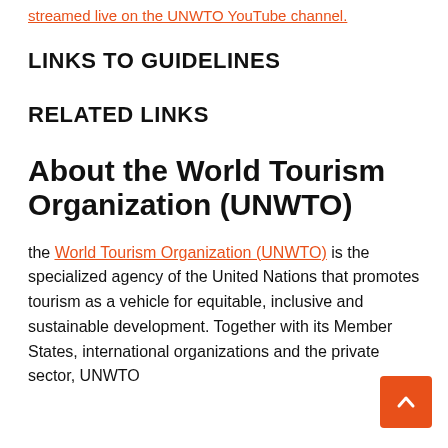streamed live on the UNWTO YouTube channel.
LINKS TO GUIDELINES
RELATED LINKS
About the World Tourism Organization (UNWTO)
the World Tourism Organization (UNWTO) is the specialized agency of the United Nations that promotes tourism as a vehicle for equitable, inclusive and sustainable development. Together with its Member States, international organizations and the private sector, UNWTO